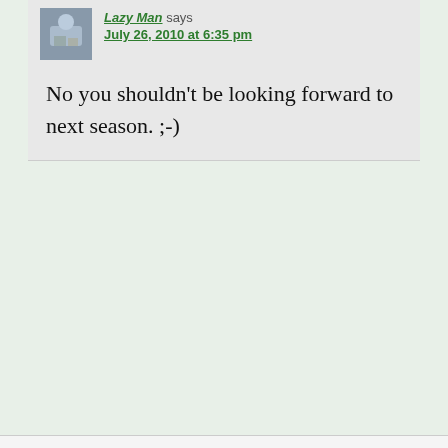Lazy Man says July 26, 2010 at 6:35 pm
No you shouldn't be looking forward to next season. ;-)